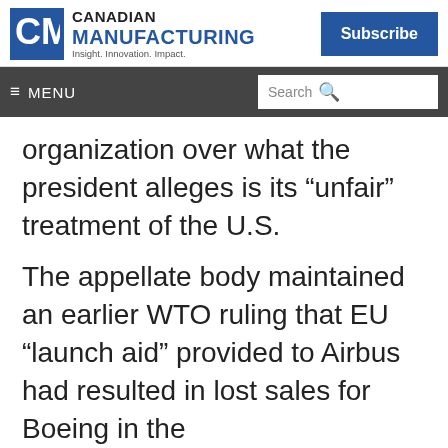Canadian Manufacturing — Insight. Innovation. Impact. | Subscribe
≡ MENU | Search
organization over what the president alleges is its “unfair” treatment of the U.S.
The appellate body maintained an earlier WTO ruling that EU “launch aid” provided to Airbus had resulted in lost sales for Boeing in the
We are using cookies to give you the best experience on our website.
By continuing to use the site, you agree to the use of cookies.
To find out more, read our privacy policy.